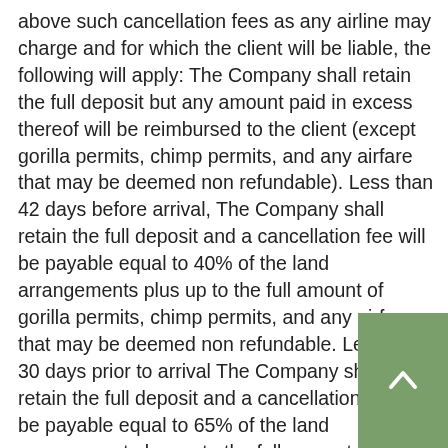above such cancellation fees as any airline may charge and for which the client will be liable, the following will apply: The Company shall retain the full deposit but any amount paid in excess thereof will be reimbursed to the client (except gorilla permits, chimp permits, and any airfare that may be deemed non refundable). Less than 42 days before arrival, The Company shall retain the full deposit and a cancellation fee will be payable equal to 40% of the land arrangements plus up to the full amount of gorilla permits, chimp permits, and any airfare that may be deemed non refundable. Less than 30 days prior to arrival The Company shall retain the full deposit and a cancellation fee will be payable equal to 65% of the land arrangement plus up to the full amount of the air ticket, gorilla